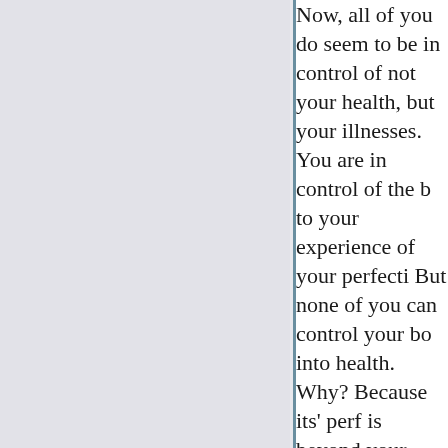Now, all of you do seem to be in control of not your health, but your illnesses. You are in control of the b to your experience of your perfecti But none of you can control your bo into health. Why? Because its' perf is beyond your control. You have no to do with its perfection, God does. have no more control over its' perfe than you have over your Individuali your existence, because God does by virtue of your thoughts you can m your existence miserable. That is th thing you can do by means of your thoughts—create disturbances cau you to have distorted perceptions o one and only thing that's going on, is the Kingdom of Heaven and the s and Daughters of God.

Now why is this important? W I bringing this out? Because what